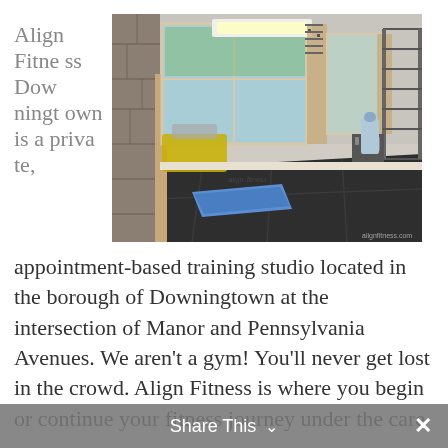Align Fitness Downingtown is a private,
[Figure (photo): Interior photo of a private fitness training studio showing a large open room with black rubber floor mats, a blue exercise mat in the center, weight equipment along the wall, a pull-up rack on the right, large windows with natural light, and wood flooring visible at the front.]
appointment-based training studio located in the borough of Downingtown at the intersection of Manor and Pennsylvania Avenues. We aren't a gym! You'll never get lost in the crowd. Align Fitness is where you begin or continue your fitness journey under the care
Share This ∨  ✕